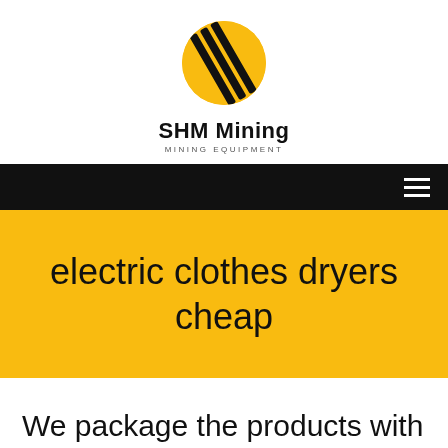[Figure (logo): SHM Mining logo: a yellow oval with black diagonal stripe lines and the text 'SHM Mining' below, with 'MINING EQUIPMENT' in small caps underneath]
SHM Mining
MINING EQUIPMENT
electric clothes dryers cheap
We package the products with best services to make you a happy